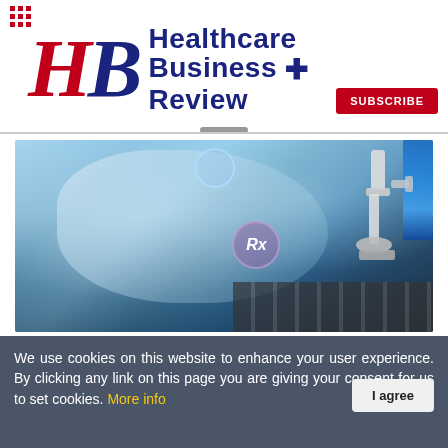[Figure (logo): Healthcare Business Review magazine logo with red HB letters and navy blue text on white background]
SUBSCRIBE
[Figure (photo): Lab scene with scientist in white coat using tablet near microscope, Rx symbol overlay, keyboard in background, blue lab tubes on right side]
Prominent Developments In Neuroscience In 2022
We use cookies on this website to enhance your user experience. By clicking any link on this page you are giving your consent for us to set cookies. More info